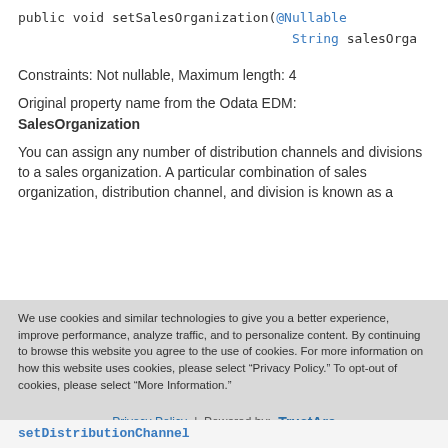public void setSalesOrganization(@Nullable String salesOrga
Constraints: Not nullable, Maximum length: 4
Original property name from the Odata EDM: SalesOrganization
You can assign any number of distribution channels and divisions to a sales organization. A particular combination of sales organization, distribution channel, and division is known as a
We use cookies and similar technologies to give you a better experience, improve performance, analyze traffic, and to personalize content. By continuing to browse this website you agree to the use of cookies. For more information on how this website uses cookies, please select “Privacy Policy.” To opt-out of cookies, please select “More Information.”
Accept Cookies
More Information
Privacy Policy | Powered by: TrustArc
setDistributionChannel